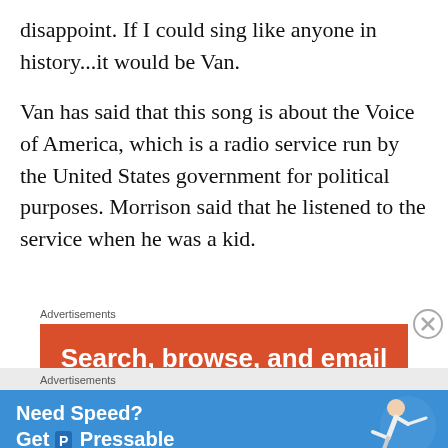disappoint. If I could sing like anyone in history...it would be Van.
Van has said that this song is about the Voice of America, which is a radio service run by the United States government for political purposes. Morrison said that he listened to the service when he was a kid.
Advertisements
[Figure (screenshot): Orange advertisement banner: 'Search, browse, and email with more privacy. All in One Free App']
Advertisements
[Figure (screenshot): Blue advertisement banner: 'Need Speed? Get Pressable' with person running graphic]